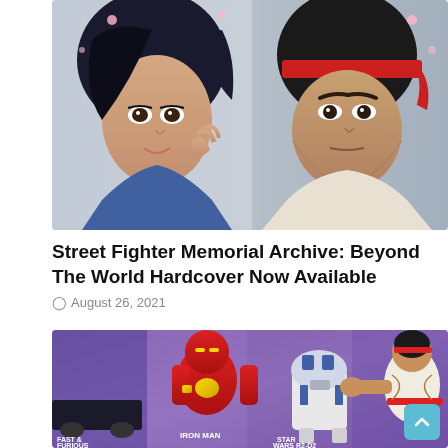[Figure (illustration): Manga-style illustration of two Street Fighter characters: a female character on the left smiling and looking at the viewer, and a male character on the right wearing a red headband with a serious expression. Pink cherry blossom petals in the background.]
Street Fighter Memorial Archive: Beyond The World Hardcover Now Available
August 26, 2021
[Figure (photo): Promotional banner on a purple background showing collectible figures and merchandise including an Iron Man figure, an R2-D2 Star Wars figure, a Fast & Furious item, and a Street Fighter Ryu figure. Text overlays read: FAST & FURIOUS, IRON MAN, STAR WARS R2-D2.]